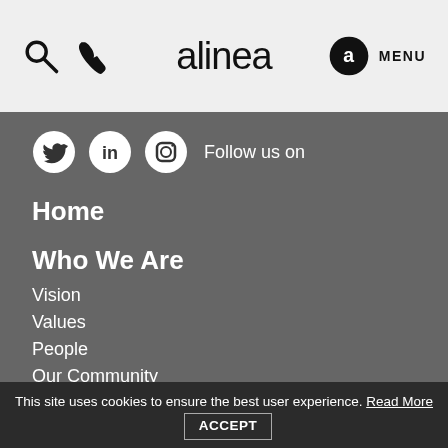alinea — MENU (with search and phone icons)
[Figure (infographic): Social media icons: Twitter, LinkedIn, Instagram circles with 'Follow us on' text]
Home
Who We Are
Vision
Values
People
Our Community
Corporate Social Responsibility
Climate Journey
What We Do
This site uses cookies to ensure the best user experience. Read More  ACCEPT